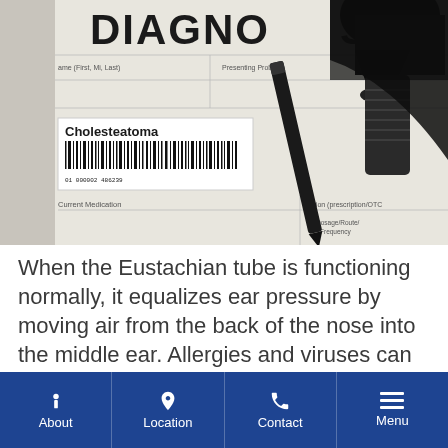[Figure (photo): Medical diagnostic form with a label reading 'Cholesteatoma' and a barcode, along with an otoscope and a pen placed on top of the form. The form shows partial text including 'DIAGNO...', 'Presenting Problem', 'Current Medication', 'Dosage/Route/Frequency'.]
When the Eustachian tube is functioning normally, it equalizes ear pressure by moving air from the back of the nose into the middle ear. Allergies and viruses can affect performance, leading to a partial
About | Location | Contact | Menu